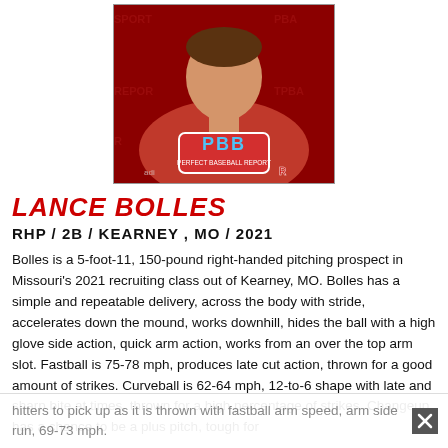[Figure (photo): Photo of Lance Bolles wearing a red PBR (Perfect Baseball Report) long-sleeve shirt, shown from chest up against a backdrop with PBR logos]
LANCE BOLLES
RHP / 2B / KEARNEY , MO / 2021
Bolles is a 5-foot-11, 150-pound right-handed pitching prospect in Missouri's 2021 recruiting class out of Kearney, MO. Bolles has a simple and repeatable delivery, across the body with stride, accelerates down the mound, works downhill, hides the ball with a high glove side action, quick arm action, works from an over the top arm slot. Fastball is 75-78 mph, produces late cut action, thrown for a good amount of strikes. Curveball is 62-64 mph, 12-to-6 shape with late and sharp bite at times, thrown for a high percentage of strikes. Changeup has a chance to be a plus pitch, tough for
hitters to pick up as it is thrown with fastball arm speed, arm side run, 69-73 mph.